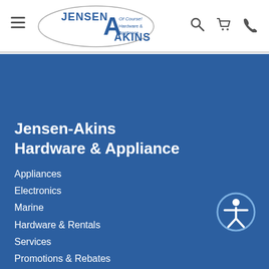[Figure (logo): Jensen-Akins Of Course! Hardware & Appliance oval logo with stylized A]
Jensen-Akins Hardware & Appliance
Appliances
Electronics
Marine
Hardware & Rentals
Services
Promotions & Rebates
Clearance
About Us
Careers
Financing